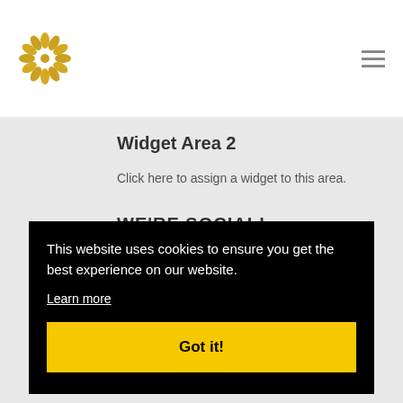Widget Area 2
Click here to assign a widget to this area.
WE'RE SOCIAL!
[Figure (logo): Small golden flower/sunburst logo icon]
This website uses cookies to ensure you get the best experience on our website.
Learn more
Got it!
GET IN TOUCH